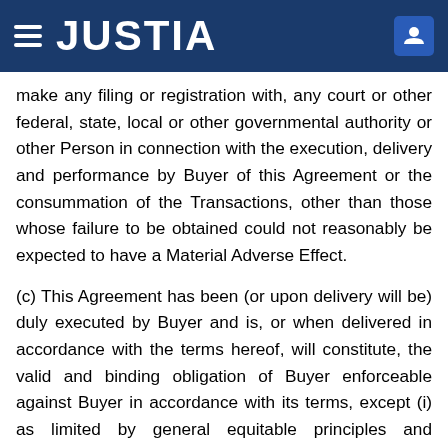JUSTIA
make any filing or registration with, any court or other federal, state, local or other governmental authority or other Person in connection with the execution, delivery and performance by Buyer of this Agreement or the consummation of the Transactions, other than those whose failure to be obtained could not reasonably be expected to have a Material Adverse Effect.
(c) This Agreement has been (or upon delivery will be) duly executed by Buyer and is, or when delivered in accordance with the terms hereof, will constitute, the valid and binding obligation of Buyer enforceable against Buyer in accordance with its terms, except (i) as limited by general equitable principles and applicable bankruptcy, insolvency, reorganization, moratorium and other